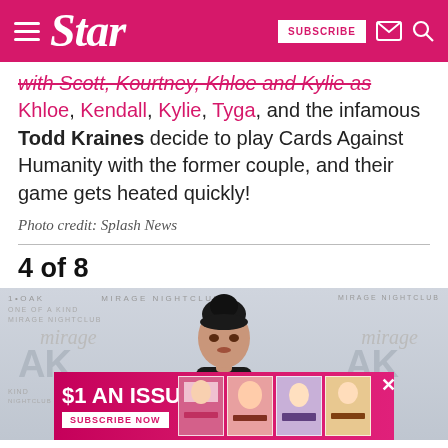Star — SUBSCRIBE
... Khloe, Kendall, Kylie, Tyga, and the infamous Todd Kraines decide to play Cards Against Humanity with the former couple, and their game gets heated quickly!
Photo credit: Splash News
4 of 8
[Figure (photo): Woman with dark hair in updo posing in front of 1OAK Mirage Nightclub backdrop]
[Figure (infographic): Advertisement banner: $1 AN ISSUE — SUBSCRIBE NOW with magazine cover images]